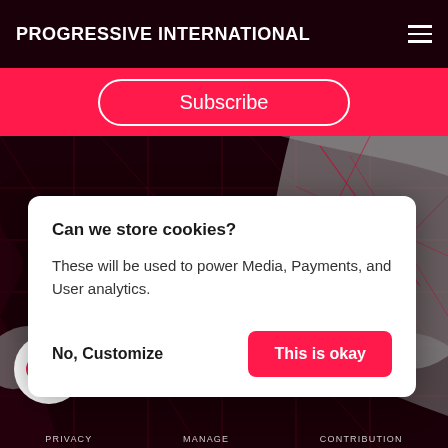PROGRESSIVE INTERNATIONAL
Subscribe
[Figure (map): Dark world map with red grid lines overlaid on dark maroon background, showing landmasses in grey]
Can we store cookies?
These will be used to power Media, Payments, and User analytics.
No, Customize
This is okay
PROGRESSIVE INTERNATIONAL
PRIVACY    MANAGE    CONTRIBUTION